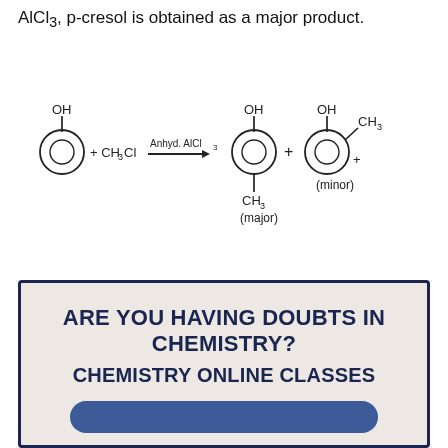AlCl3, p-cresol is obtained as a major product.
[Figure (engineering-diagram): Chemical reaction diagram showing phenol + CH3Cl with Anhyd. AlCl3 catalyst arrow giving para-cresol (major) + ortho-cresol with CH3 (minor)]
ARE YOU HAVING DOUBTS IN CHEMISTRY?
CHEMISTRY ONLINE CLASSES